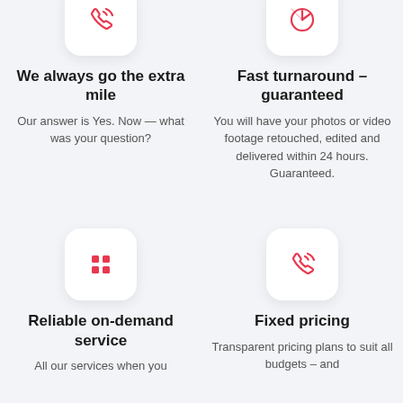[Figure (illustration): Phone/call icon in pink/red on white rounded square card]
We always go the extra mile
Our answer is Yes. Now — what was your question?
[Figure (illustration): Pie/clock chart icon in pink/red on white rounded square card]
Fast turnaround – guaranteed
You will have your photos or video footage retouched, edited and delivered within 24 hours. Guaranteed.
[Figure (illustration): Grid/apps icon in pink/red on white rounded square card]
Reliable on-demand service
All our services when you
[Figure (illustration): Phone/call icon in pink/red on white rounded square card]
Fixed pricing
Transparent pricing plans to suit all budgets – and